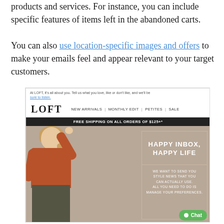products and services. For instance, you can include specific features of items left in the abandoned carts. You can also use location-specific images and offers to make your emails feel and appear relevant to your target customers.
[Figure (screenshot): Screenshot of a LOFT email marketing newsletter. Shows the LOFT logo with navigation links (NEW ARRIVALS, MONTHLY EDIT, PETITES, SALE), a free shipping banner ('FREE SHIPPING ON ALL ORDERS OF $125+*'), a hero image of a smiling blonde woman in a rust-colored shirt and dark pants, and an overlaid text box reading 'HAPPY INBOX, HAPPY LIFE' with subtext 'WE WANT TO SEND YOU STYLE NEWS THAT YOU CAN ACTUALLY USE. ALL YOU NEED TO DO IS MANAGE YOUR PREFERENCES.' A green Chat button appears in the bottom right.]